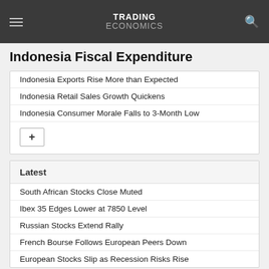TRADING ECONOMICS
Indonesia Fiscal Expenditure
Indonesia Exports Rise More than Expected
Indonesia Retail Sales Growth Quickens
Indonesia Consumer Morale Falls to 3-Month Low
Latest
South African Stocks Close Muted
Ibex 35 Edges Lower at 7850 Level
Russian Stocks Extend Rally
French Bourse Follows European Peers Down
European Stocks Slip as Recession Risks Rise